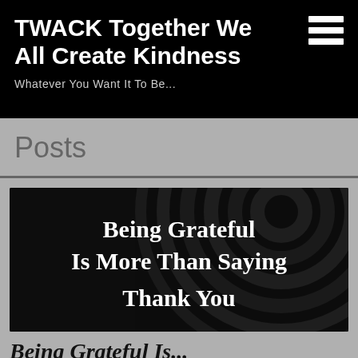TWACK Together We All Create Kindness
Whatever You Want It To Be...
Posts
[Figure (illustration): Dark background image with concentric swirling circles and bold white serif text reading 'Being Grateful Is More Than Saying Thank You']
Being Grateful Is...